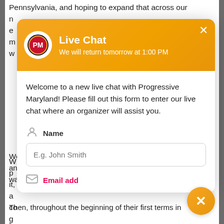Pennsylvania, and hoping to expand that across our ne... e... m... w...
[Figure (screenshot): Live Chat modal popup with orange gradient header showing Progressive Maryland logo, title 'Live Chat', subtitle 'We will return tomorrow at 1:00 PM', close button (×). Body contains welcome text, Name label with person icon, text input with placeholder 'E.g. John Smith', and a second partially visible field row.]
We'll get in to the nuts and bolts of what to be ready for, and start to build platforms and policies for when th... walk into their office for the first time.
Then, throughout the beginning of their first terms in